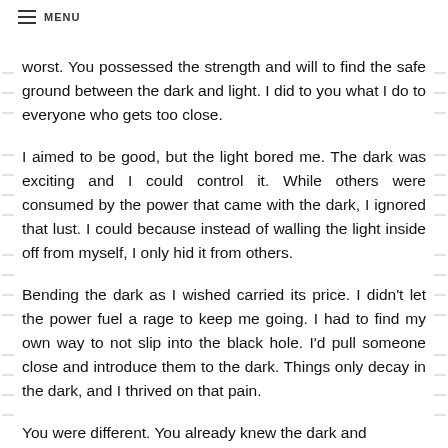MENU
worst. You possessed the strength and will to find the safe ground between the dark and light. I did to you what I do to everyone who gets too close.
I aimed to be good, but the light bored me. The dark was exciting and I could control it. While others were consumed by the power that came with the dark, I ignored that lust. I could because instead of walling the light inside off from myself, I only hid it from others.
Bending the dark as I wished carried its price. I didn't let the power fuel a rage to keep me going. I had to find my own way to not slip into the black hole. I'd pull someone close and introduce them to the dark. Things only decay in the dark, and I thrived on that pain.
You were different. You already knew the dark and